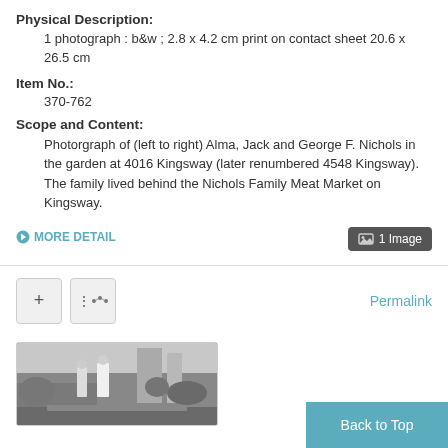Physical Description:
1 photograph : b&w ; 2.8 x 4.2 cm print on contact sheet 20.6 x 26.5 cm
Item No.:
370-762
Scope and Content:
Photorgraph of (left to right) Alma, Jack and George F. Nichols in the garden at 4016 Kingsway (later renumbered 4548 Kingsway). The family lived behind the Nichols Family Meat Market on Kingsway.
MORE DETAIL
1 Image
Permalink
[Figure (photo): Black and white thumbnail photograph of people standing in a garden]
Back to Top